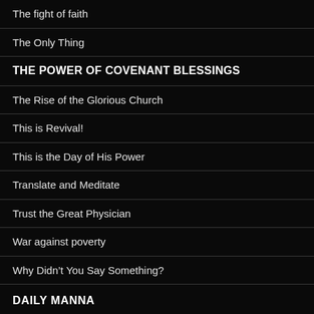The fight of faith
The Only Thing
THE POWER OF COVENANT BLESSINGS
The Rise of the Glorious Church
This is Revival!
This is the Day of His Power
Translate and Meditate
Trust the Great Physician
War against poverty
Why Didn’t You Say Something?
Wisdom From God
Words Are Spiritual Weapons
DAILY MANNA